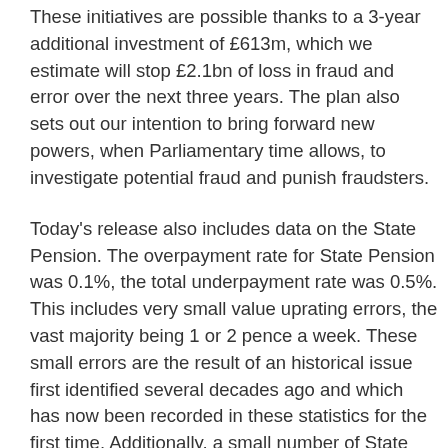These initiatives are possible thanks to a 3-year additional investment of £613m, which we estimate will stop £2.1bn of loss in fraud and error over the next three years. The plan also sets out our intention to bring forward new powers, when Parliamentary time allows, to investigate potential fraud and punish fraudsters.
Today's release also includes data on the State Pension. The overpayment rate for State Pension was 0.1%, the total underpayment rate was 0.5%. This includes very small value uprating errors, the vast majority being 1 or 2 pence a week. These small errors are the result of an historical issue first identified several decades ago and which has now been recorded in these statistics for the first time. Additionally, a small number of State Pension errors